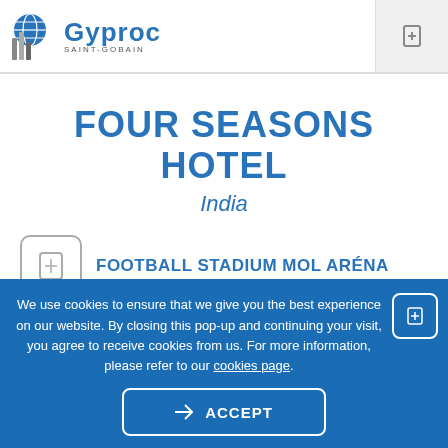Gyproc Saint-Gobain logo header
FOUR SEASONS HOTEL
India
FOOTBALL STADIUM MOL ARÉNA
We use cookies to ensure that we give you the best experience on our website. By closing this pop-up and continuing your visit, you agree to receive cookies from us. For more information, please refer to our cookies page.
ACCEPT